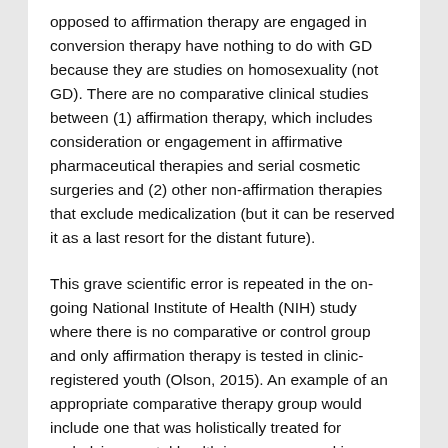opposed to affirmation therapy are engaged in conversion therapy have nothing to do with GD because they are studies on homosexuality (not GD). There are no comparative clinical studies between (1) affirmation therapy, which includes consideration or engagement in affirmative pharmaceutical therapies and serial cosmetic surgeries and (2) other non-affirmation therapies that exclude medicalization (but it can be reserved it as a last resort for the distant future).
This grave scientific error is repeated in the on-going National Institute of Health (NIH) study where there is no comparative or control group and only affirmation therapy is tested in clinic-registered youth (Olson, 2015). An example of an appropriate comparative therapy group would include one that was holistically treated for underlying mental health issues, engaged in regular physical activity that is enjoyable to the youth, assisted with building strong social connections, and supported by loving families who do not affirm that the youth is in the wrong body and instead only ask the youth to be open to